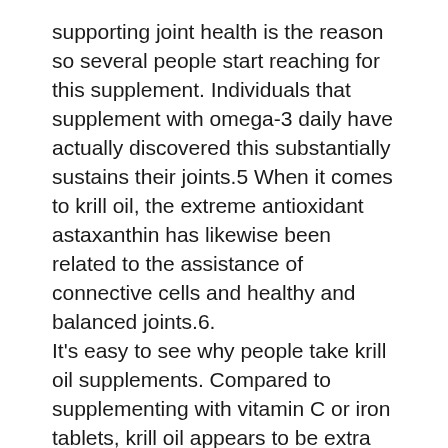supporting joint health is the reason so several people start reaching for this supplement. Individuals that supplement with omega-3 daily have actually discovered this substantially sustains their joints.5 When it comes to krill oil, the extreme antioxidant astaxanthin has likewise been related to the assistance of connective cells and healthy and balanced joints.6.
It's easy to see why people take krill oil supplements. Compared to supplementing with vitamin C or iron tablets, krill oil appears to be extra regarding supporting all-round wellness in contrast to taking on certain concerns or deficiencies.
The clinical area has verified lots of wonderful benefits of omega-3 fatty acids